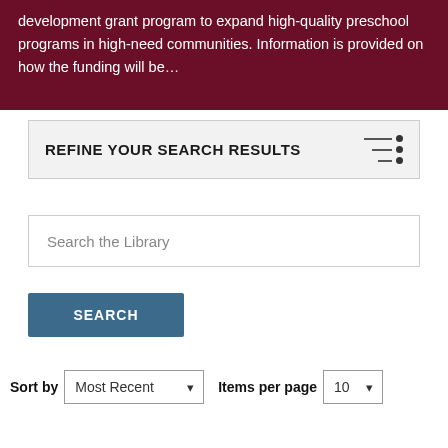development grant program to expand high-quality preschool programs in high-need communities. Information is provided on how the funding will be…
REFINE YOUR SEARCH RESULTS
Search the Library
SEARCH
Sort by  Most Recent   Items per page  10